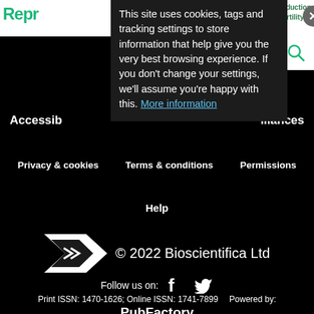[Figure (screenshot): Partial website header showing green 'Repr' logo text on white background, top-left. Top-right shows partial text 'roduction nd Fertility' in green. Cookie consent modal overlay in dark background with X close button. Hamburger menu and search icons visible top-right.]
This site uses cookies, tags and tracking settings to store information that help give you the very best browsing experience. If you don't change your settings, we'll assume you're happy with this. More information
Accessib
lliances
Privacy & cookies   Terms & conditions   Permissions
Help
© 2022 Bioscientifica Ltd
Follow us on:
Print ISSN: 1470-1626; Online ISSN: 1741-7899   Powered by:
PubFactory